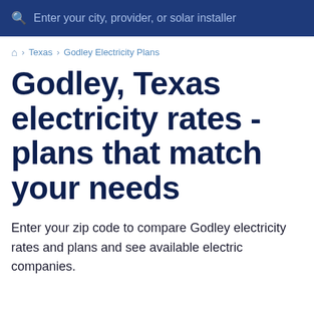Enter your city, provider, or solar installer
Home › Texas › Godley Electricity Plans
Godley, Texas electricity rates - plans that match your needs
Enter your zip code to compare Godley electricity rates and plans and see available electric companies.